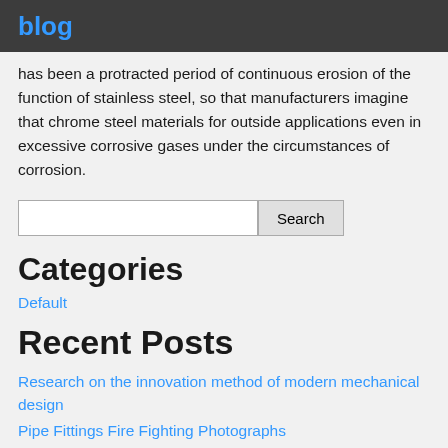blog
has been a protracted period of continuous erosion of the function of stainless steel, so that manufacturers imagine that chrome steel materials for outside applications even in excessive corrosive gases under the circumstances of corrosion.
Search
Categories
Default
Recent Posts
Research on the innovation method of modern mechanical design
Pipe Fittings Fire Fighting Photographs
Japan Concrete Block Making Machine, Japan Concrete